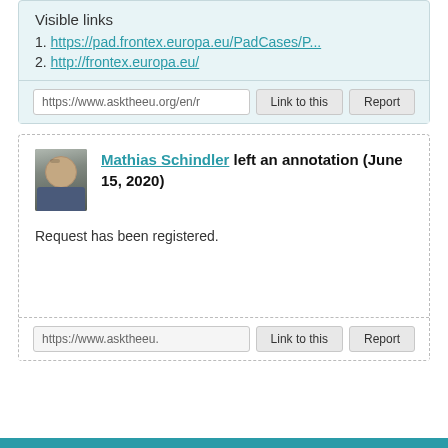Visible links
1. https://pad.frontex.europa.eu/PadCases/P...
2. http://frontex.europa.eu/
https://www.asktheeu.org/en/r
Link to this
Report
Mathias Schindler left an annotation (June 15, 2020)
Request has been registered.
https://www.asktheeu.
Link to this
Report